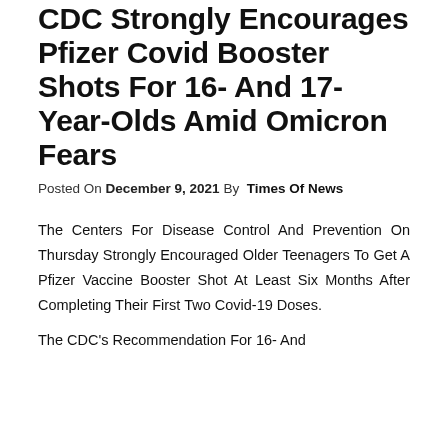CDC Strongly Encourages Pfizer Covid Booster Shots For 16- And 17-Year-Olds Amid Omicron Fears
Posted On December 9, 2021 By  Times Of News
The Centers For Disease Control And Prevention On Thursday Strongly Encouraged Older Teenagers To Get A Pfizer Vaccine Booster Shot At Least Six Months After Completing Their First Two Covid-19 Doses.
The CDC's Recommendation For 16- And